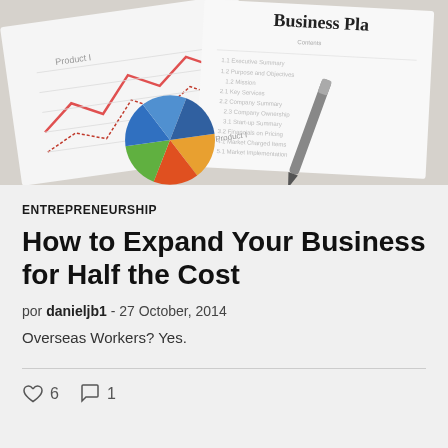[Figure (photo): Photo of business plan documents with a pie chart, line graph, and a pen on a light background]
ENTREPRENEURSHIP
How to Expand Your Business for Half the Cost
por danieljb1 - 27 October, 2014
Overseas Workers? Yes.
6  1